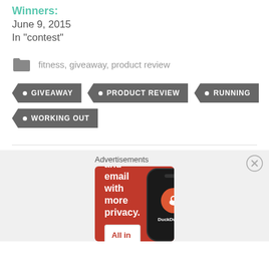Winners:
June 9, 2015
In "contest"
fitness, giveaway, product review
GIVEAWAY
PRODUCT REVIEW
RUNNING
WORKING OUT
Advertisements
[Figure (screenshot): DuckDuckGo advertisement banner showing 'Search, browse, and email with more privacy. All in One Free App' with a phone mockup and DuckDuckGo logo]